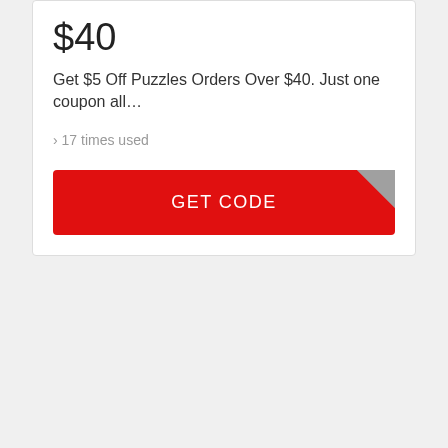$40
Get $5 Off Puzzles Orders Over $40. Just one coupon all…
› 17 times used
GET CODE